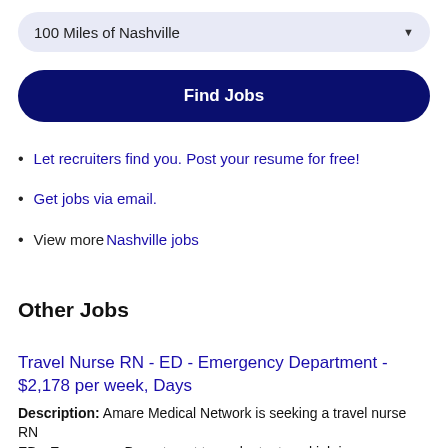100 Miles of Nashville
Find Jobs
Let recruiters find you. Post your resume for free!
Get jobs via email.
View more Nashville jobs
Other Jobs
Travel Nurse RN - ED - Emergency Department - $2,178 per week, Days
Description: Amare Medical Network is seeking a travel nurse RN ED - Emergency Department to work at a travel job in...